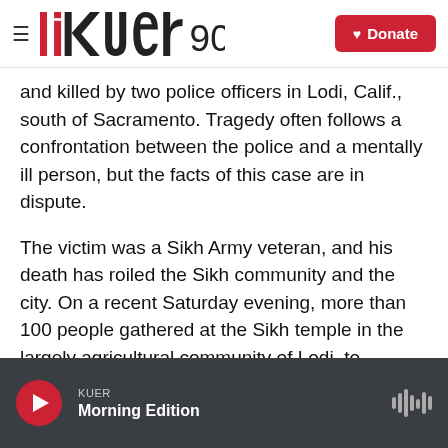KUER 90.1 — Donate
and killed by two police officers in Lodi, Calif., south of Sacramento. Tragedy often follows a confrontation between the police and a mentally ill person, but the facts of this case are in dispute.
The victim was a Sikh Army veteran, and his death has roiled the Sikh community and the city. On a recent Saturday evening, more than 100 people gathered at the Sikh temple in the largely agricultural community of Lodi, to remember Parminder Shergill.
KUER — Morning Edition